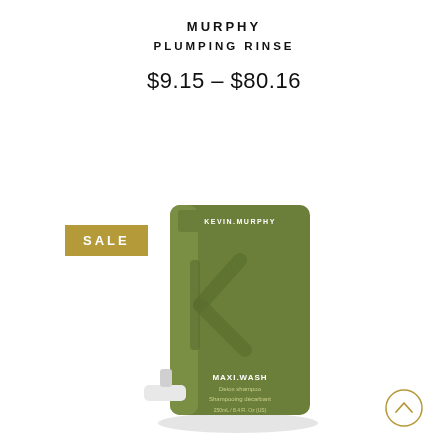MURPHY
PLUMPING RINSE
$9.15 – $80.16
SALE
[Figure (photo): Kevin Murphy Maxi.Wash Detox Shampoo product bottle in olive green color with the brand logo 'k' embossed, label reads MAXI.WASH Detox shampoo / Shampoing décarbant, with a pump dispenser at the bottom left]
[Figure (other): Scroll-up chevron button circle]